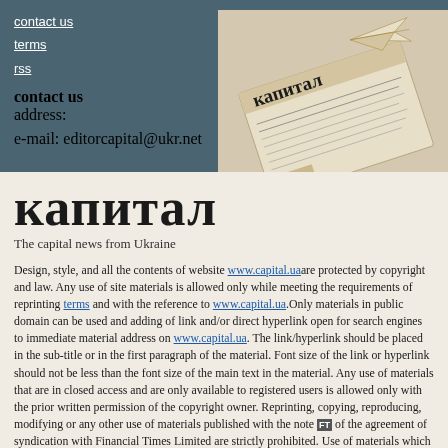contact us
terms
rss
contact us
address:
e-mail: editorcapital@ukr.net
[Figure (photo): Photograph of a rolled/folded newspaper with Cyrillic text 'капитал' visible, with a paper airplane on top, on a beige background]
капитал
The capital news from Ukraine
Design, style, and all the contents of website www.capital.ua are protected by copyright and law. Any use of site materials is allowed only while meeting the requirements of reprinting terms and with the reference to www.capital.ua. Only materials in public domain can be used and adding of link and/or direct hyperlink open for search engines to immediate material address on www.capital.ua. The link/hyperlink should be placed in the sub-title or in the first paragraph of the material. Font size of the link or hyperlink should not be less than the font size of the main text in the material. Any use of materials that are in closed access and are only available to registered users is allowed only with the prior written permission of the copyright owner. Reprinting, copying, reproducing, modifying or any other use of materials published with the note [FT] of the agreement of syndication with Financial Times Limited are strictly prohibited. Use of materials which refers to France-Presse, Reuters, Interfax-Ukraine, Ukrainian News, UNIAN agencies is strictly prohibited. Materials marked [R] are published as advertisements.
All rights reserved. © 2012 — 2016